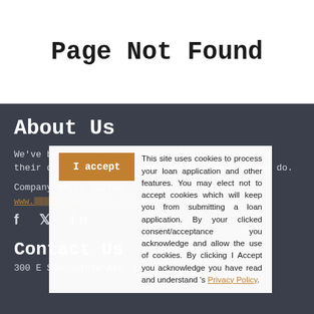Page Not Found
About Us
We've been helping customers afford the home of their dreams for many years and we love what we do.
Company NMLS: 222730
www.[redacted]sumeraccess.org
f  twitter  in
Contact Us
300 E Sandpointe Ave, Suite 650
This site uses cookies to process your loan application and other features. You may elect not to accept cookies which will keep you from submitting a loan application. By your clicked consent/acceptance you acknowledge and allow the use of cookies. By clicking I Accept you acknowledge you have read and understand 's Privacy Policy.